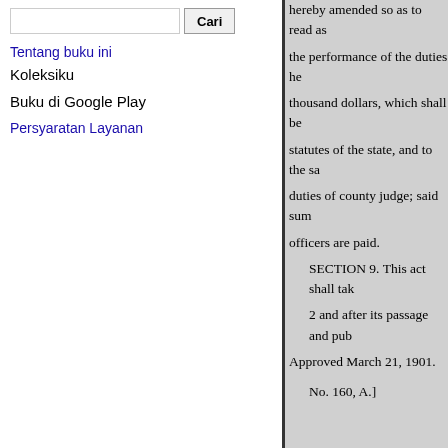Tentang buku ini
Koleksiku
Buku di Google Play
Persyaratan Layanan
hereby amended so as to read as the performance of the duties he thousand dollars, which shall be statutes of the state, and to the sa duties of county judge; said sum officers are paid.
SECTION 9. This act shall tak 2 and after its passage and pub
Approved March 21, 1901.
No. 160, A.]
CILAPTER 6.).
AN ACT to provide when any in to a county insane asylum shall b
The people of the state of Wisco
assemblu do cnacl as follows: